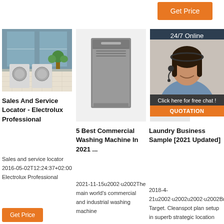[Figure (screenshot): Orange 'Get Price' button at top center]
[Figure (photo): Laundry room with washing machines]
Sales And Service Locator - Electrolux Professional
Sales and service locator 2016-05-02T12:24:37+02:00 Electrolux Professional
[Figure (photo): Commercial dishwasher / washing machine appliance]
5 Best Commercial Washing Machine In 2021 ...
2021-11-15u2002·u2002The main world's commercial and industrial washing machine
[Figure (photo): Laundry appliance unit]
Laundry Business Sample [2021 Updated]
2018-4-21u2002·u2002u2002·u2002Business Target. Cleanspot plan setup in superb strategic location with access to a
[Figure (photo): Customer service agent with headset, 24/7 Online overlay with Click here for free chat and QUOTATION button]